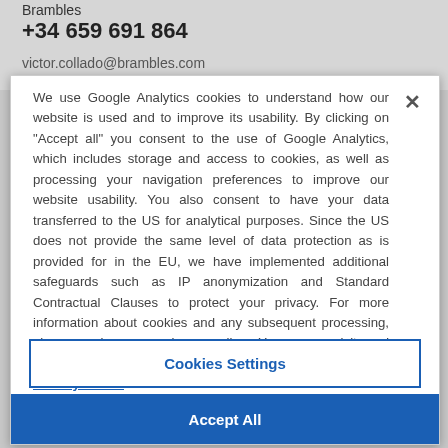Brambles
+34 659 691 864
victor.collado@brambles.com
We use Google Analytics cookies to understand how our website is used and to improve its usability. By clicking on "Accept all" you consent to the use of Google Analytics, which includes storage and access to cookies, as well as processing your navigation preferences to improve our website usability. You also consent to have your data transferred to the US for analytical purposes. Since the US does not provide the same level of data protection as is provided for in the EU, we have implemented additional safeguards such as IP anonymization and Standard Contractual Clauses to protect your privacy. For more information about cookies and any subsequent processing, please review our privacy policy. You can revisit and customize your cookie settings at any time on our website. Privacy Notice
Cookies Settings
Accept All